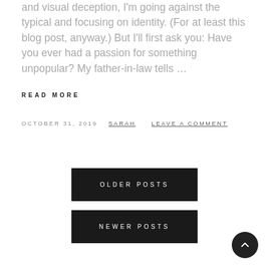and visual deception, I'm going against the typical and focusing on identity. (For at least this blog post, anyway.) But I'll first ask you: Have you ever had a passion for something unpopular? My father-in-law tells …
READ MORE
OCTOBER 31, 2019  SARAH  LEAVE A COMMENT
OLDER POSTS
NEWER POSTS